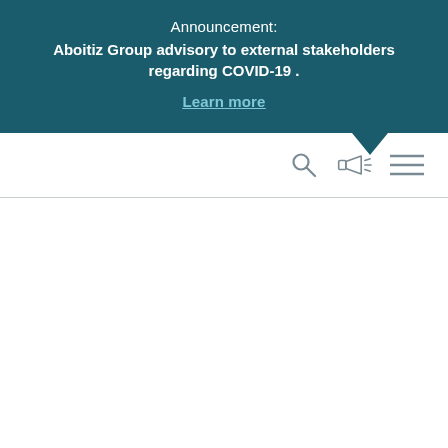Announcement:
Aboitiz Group advisory to external stakeholders regarding COVID-19.

Learn more
[Figure (screenshot): Navigation bar with search icon, megaphone/announcement icon, and hamburger menu icon]